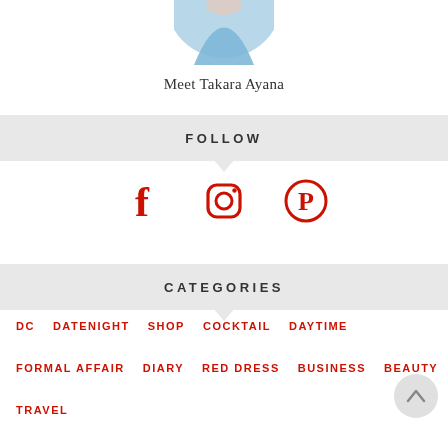[Figure (photo): Partial view of a circular profile photo showing person in light blue top, cropped at top of page]
Meet Takara Ayana
FOLLOW
[Figure (illustration): Social media icons: Facebook, Instagram, Pinterest in red]
CATEGORIES
DC
DATENIGHT
SHOP
COCKTAIL
DAYTIME
FORMAL AFFAIR
DIARY
RED DRESS
BUSINESS
BEAUTY
TRAVEL